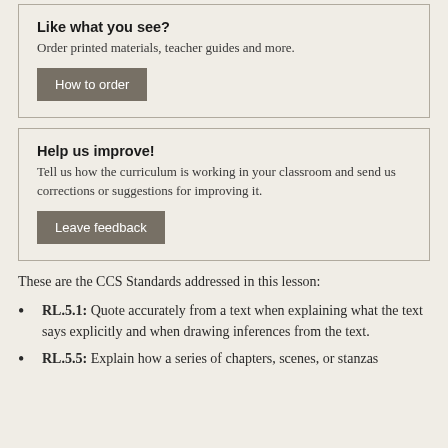Like what you see?
Order printed materials, teacher guides and more.
How to order
Help us improve!
Tell us how the curriculum is working in your classroom and send us corrections or suggestions for improving it.
Leave feedback
These are the CCS Standards addressed in this lesson:
RL.5.1: Quote accurately from a text when explaining what the text says explicitly and when drawing inferences from the text.
RL.5.5: Explain how a series of chapters, scenes, or stanzas